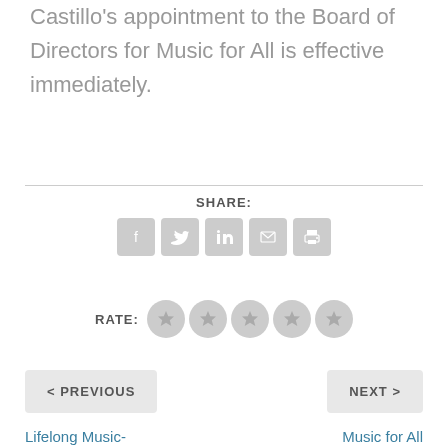Castillo's appointment to the Board of Directors for Music for All is effective immediately.
[Figure (infographic): Social share icons row: Facebook, Twitter, LinkedIn, Email, Print — all grey rounded square buttons, with 'SHARE:' label above]
[Figure (infographic): Rating row with 'RATE:' label and 5 grey star circles]
< PREVIOUS
NEXT >
Lifelong Music-
Music for All